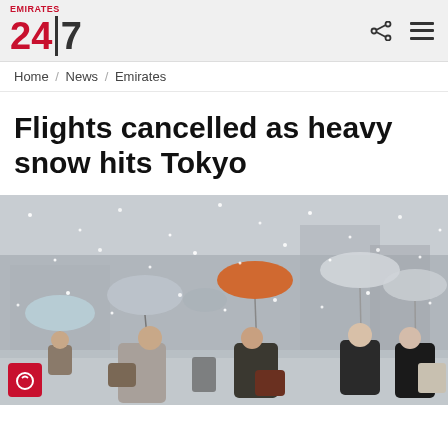Emirates 24|7
Home / News / Emirates
Flights cancelled as heavy snow hits Tokyo
[Figure (photo): People walking in heavy snowfall in Tokyo, carrying umbrellas, wearing winter coats and masks]